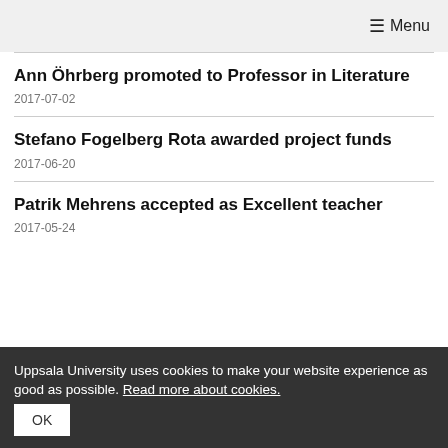☰ Menu
Ann Öhrberg promoted to Professor in Literature
2017-07-02
Stefano Fogelberg Rota awarded project funds
2017-06-20
Patrik Mehrens accepted as Excellent teacher
2017-05-24
Uppsala University uses cookies to make your website experience as good as possible. Read more about cookies. OK